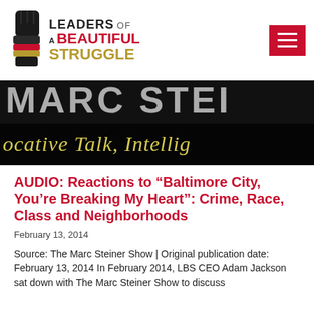[Figure (logo): Leaders of a Beautiful Struggle logo with raised fist icon and stylized text]
[Figure (screenshot): Banner image with dark background showing large gray text 'MARC STEIN' at top and yellow italic text reading 'ocative Talk, Intellig' on lower band]
AUDIO: Reactions to “Baltimore City, You’re Breaking My Heart”: Crime, Race, Class and Neighborhoods
February 13, 2014
Source: The Marc Steiner Show | Original publication date: February 13, 2014 In February 2014, LBS CEO Adam Jackson sat down with The Marc Steiner Show to discuss